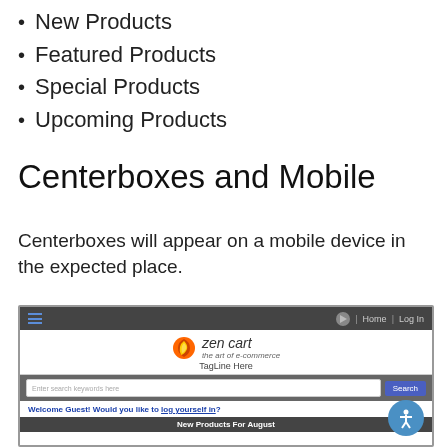New Products
Featured Products
Special Products
Upcoming Products
Centerboxes and Mobile
Centerboxes will appear on a mobile device in the expected place.
[Figure (screenshot): Screenshot of a Zen Cart mobile storefront showing navigation bar with hamburger menu, Home and Log In links, Zen Cart logo with tagline, search bar, welcome guest message with log in link, and New Products For August section bar.]